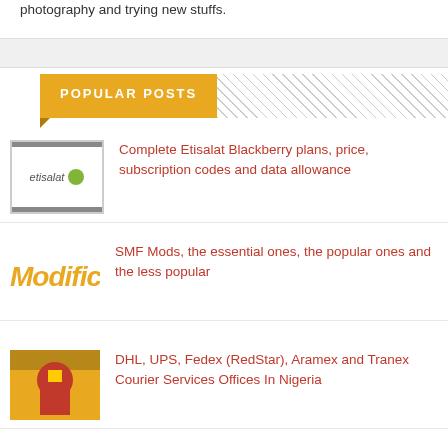photography and trying new stuffs.
POPULAR POSTS
Complete Etisalat Blackberry plans, price, subscription codes and data allowance
SMF Mods, the essential ones, the popular ones and the less popular
DHL, UPS, Fedex (RedStar), Aramex and Tranex Courier Services Offices In Nigeria